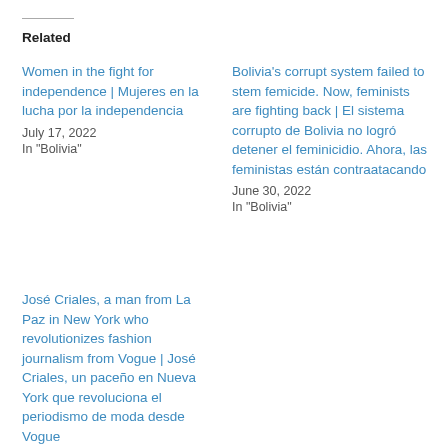Related
Women in the fight for independence | Mujeres en la lucha por la independencia
July 17, 2022
In "Bolivia"
Bolivia's corrupt system failed to stem femicide. Now, feminists are fighting back | El sistema corrupto de Bolivia no logró detener el feminicidio. Ahora, las feministas están contraatacando
June 30, 2022
In "Bolivia"
José Criales, a man from La Paz in New York who revolutionizes fashion journalism from Vogue | José Criales, un paceño en Nueva York que revoluciona el periodismo de moda desde Vogue
July 18, 2022